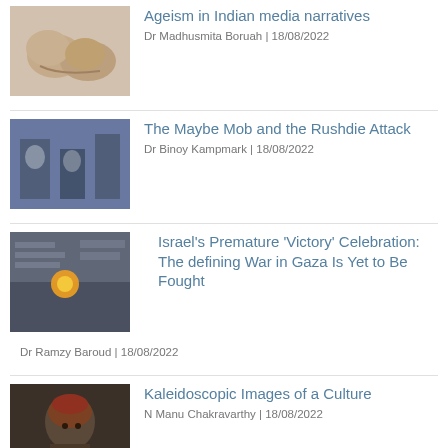Ageism in Indian media narratives | Dr Madhusmita Boruah | 18/08/2022
The Maybe Mob and the Rushdie Attack | Dr Binoy Kampmark | 18/08/2022
Israel's Premature 'Victory' Celebration: The defining War in Gaza Is Yet to Be Fought | Dr Ramzy Baroud | 18/08/2022
Kaleidoscopic Images of a Culture | N Manu Chakravarthy | 18/08/2022
What Was Lost By Corporate Tax Cut Could Have Doubled the Budget for 20 Crucial Ministries and Departments